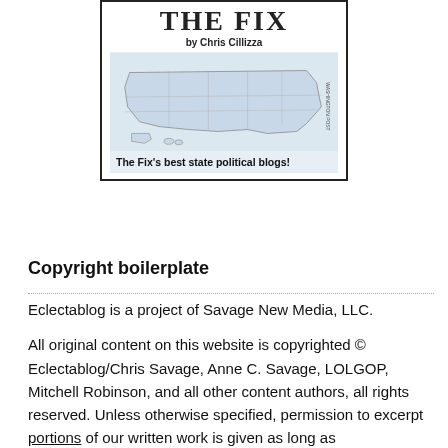[Figure (illustration): The Fix by Chris Cillizza banner with a US map graphic labeled 'The Fix's best state political blogs!']
Copyright boilerplate
Eclectablog is a project of Savage New Media, LLC.
All original content on this website is copyrighted © Eclectablog/Chris Savage, Anne C. Savage, LOLGOP, Mitchell Robinson, and all other content authors, all rights reserved. Unless otherwise specified, permission to excerpt portions of our written work is given as long as